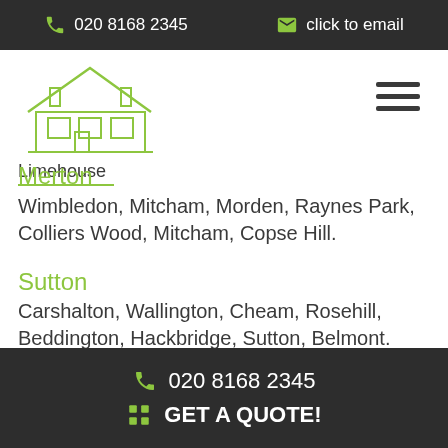020 8168 2345   click to email
[Figure (logo): Limehouse logo: outline of a building/house in green lines with the text 'Limehouse' below]
Merton
Wimbledon, Mitcham, Morden, Raynes Park, Colliers Wood, Mitcham, Copse Hill.
Sutton
Carshalton, Wallington, Cheam, Rosehill, Beddington, Hackbridge, Sutton, Belmont.
Croydon
Thornton Heath, Addiscombe, Purley, Coulsdon,
020 8168 2345   GET A QUOTE!